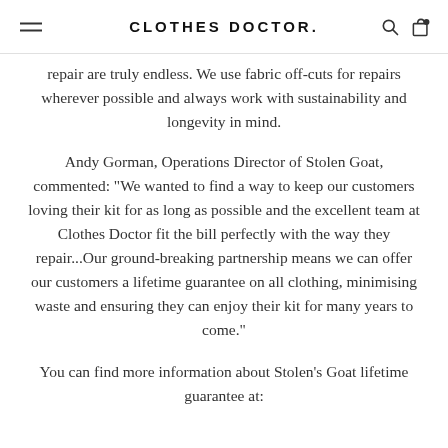CLOTHES DOCTOR.
repair are truly endless. We use fabric off-cuts for repairs wherever possible and always work with sustainability and longevity in mind.
Andy Gorman, Operations Director of Stolen Goat, commented: "We wanted to find a way to keep our customers loving their kit for as long as possible and the excellent team at Clothes Doctor fit the bill perfectly with the way they repair...Our ground-breaking partnership means we can offer our customers a lifetime guarantee on all clothing, minimising waste and ensuring they can enjoy their kit for many years to come."
You can find more information about Stolen's Goat lifetime guarantee at: